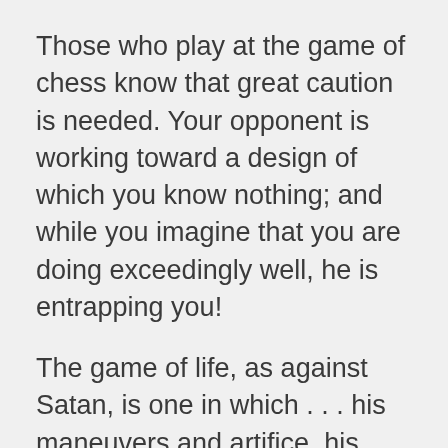Those who play at the game of chess know that great caution is needed. Your opponent is working toward a design of which you know nothing; and while you imagine that you are doing exceedingly well, he is entrapping you!
The game of life, as against Satan, is one in which . . . his maneuvers and artifice, his long practice and stratagems, his superior skill and deceptiveness, and his unscrupulous schemes–give him an immense advantage over our poor self-conceited folly!